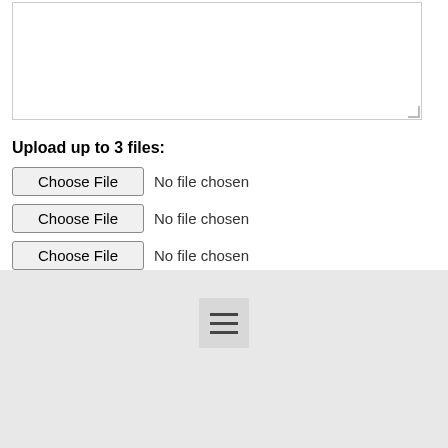[Figure (screenshot): A text area input box (empty, with resize handle in bottom-right corner)]
Upload up to 3 files:
[Figure (screenshot): File input button 1: 'Choose File' button with 'No file chosen' label]
[Figure (screenshot): File input button 2: 'Choose File' button with 'No file chosen' label]
[Figure (screenshot): File input button 3: 'Choose File' button with 'No file chosen' label]
[Figure (screenshot): SEND button in purple/mauve color]
Footer bar with hamburger menu icon